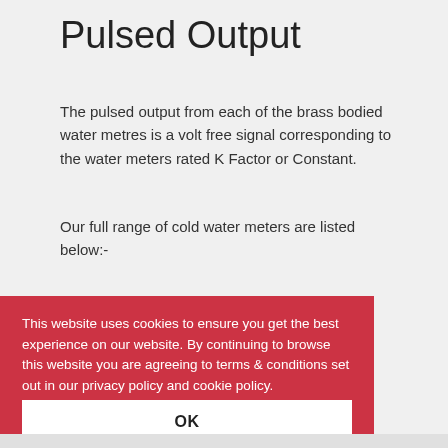Pulsed Output
The pulsed output from each of the brass bodied water metres is a volt free signal corresponding to the water meters rated K Factor or Constant.
Our full range of cold water meters are listed below:-
Flanged Water Meter Range
This website uses cookies to ensure you get the best experience on our website. By continuing to browse this website you are agreeing to terms & conditions set out in our privacy policy and cookie policy. Cookie policy   Privacy policy
OK